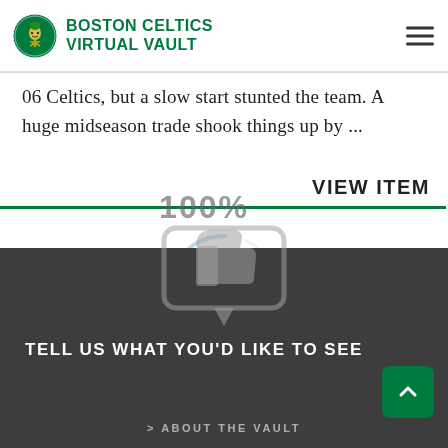BOSTON CELTICS VIRTUAL VAULT
06 Celtics, but a slow start stunted the team. A huge midseason trade shook things up by ...
VIEW ITEM
[Figure (other): Loading spinner circle in light blue on white background]
[Figure (other): Thumbs up icon with 100% label on dark grey background]
TELL US WHAT YOU'D LIKE TO SEE
ABOUT THE VAULT